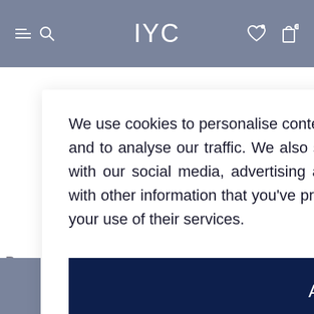IYC
We use cookies to personalise content and ads, to provide social media features and to analyse our traffic. We also share information about your use of our site with our social media, advertising and analytics partners who may combine it with other information that you've provided to them or that they've collected from your use of their services.
Allow all
Customize